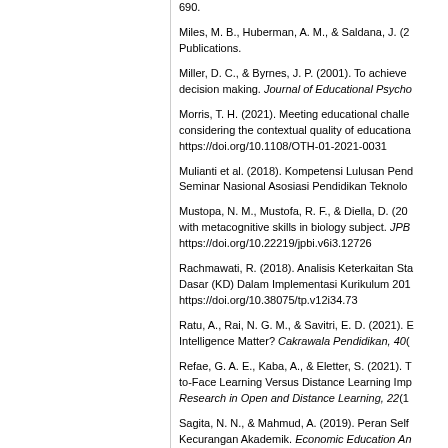690.
Miles, M. B., Huberman, A. M., & Saldana, J. (2... Publications.
Miller, D. C., & Byrnes, J. P. (2001). To achieve... decision making. Journal of Educational Psycho...
Morris, T. H. (2021). Meeting educational challe... considering the contextual quality of educationa... https://doi.org/10.1108/OTH-01-2021-0031
Mulianti et al. (2018). Kompetensi Lulusan Pend... Seminar Nasional Asosiasi Pendidikan Teknolo...
Mustopa, N. M., Mustofa, R. F., & Diella, D. (20... with metacognitive skills in biology subject. JPB... https://doi.org/10.22219/jpbi.v6i3.12726
Rachmawati, R. (2018). Analisis Keterkaitan Sta... Dasar (KD) Dalam Implementasi Kurikulum 201... https://doi.org/10.38075/tp.v12i34.73
Ratu, A., Rai, N. G. M., & Savitri, E. D. (2021). E... Intelligence Matter? Cakrawala Pendidikan, 40(...
Refae, G. A. E., Kaba, A., & Eletter, S. (2021). T... to-Face Learning Versus Distance Learning Imp... Research in Open and Distance Learning, 22(1...
Sagita, N. N., & Mahmud, A. (2019). Peran Self... Kecurangan Akademik. Economic Education An...
Shyr, W. J., & Chen, C. H. (2018). Designing a...